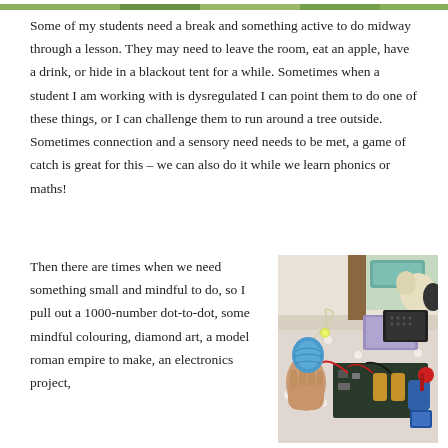[Figure (photo): Narrow green/nature photo strip at the top of the page]
Some of my students need a break and something active to do midway through a lesson. They may need to leave the room, eat an apple, have a drink, or hide in a blackout tent for a while. Sometimes when a student I am working with is dysregulated I can point them to do one of these things, or I can challenge them to run around a tree outside. Sometimes connection and a sensory need needs to be met, a game of catch is great for this – we can also do it while we learn phonics or maths!
Then there are times when we need something small and mindful to do, so I pull out a 1000-number dot-to-dot, some mindful colouring, diamond art, a model roman empire to make, an electronics project,
[Figure (photo): A hand holding a blue yarn/thread item near an electronics project with wires and components on a table, with a stuffed animal and craft supplies in the background]